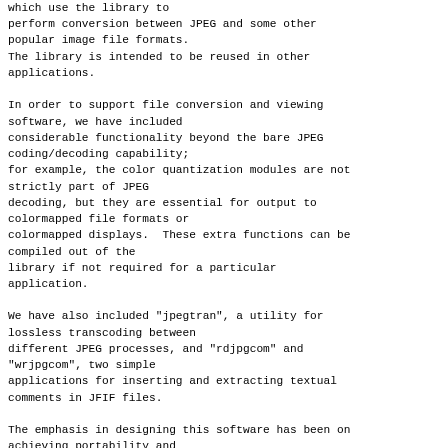which use the library to perform conversion between JPEG and some other popular image file formats.
The library is intended to be reused in other applications.
In order to support file conversion and viewing software, we have included considerable functionality beyond the bare JPEG coding/decoding capability;
for example, the color quantization modules are not strictly part of JPEG
decoding, but they are essential for output to colormapped file formats or
colormapped displays.  These extra functions can be compiled out of the
library if not required for a particular application.
We have also included "jpegtran", a utility for lossless transcoding between
different JPEG processes, and "rdjpgcom" and "wrjpgcom", two simple
applications for inserting and extracting textual comments in JFIF files.
The emphasis in designing this software has been on achieving portability and
flexibility, while also making it fast enough to be